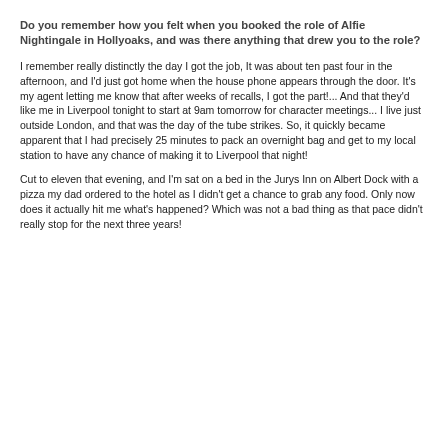Do you remember how you felt when you booked the role of Alfie Nightingale in Hollyoaks, and was there anything that drew you to the role?
I remember really distinctly the day I got the job, It was about ten past four in the afternoon, and I'd just got home when the house phone appears through the door. It's my agent letting me know that after weeks of recalls, I got the part!... And that they'd like me in Liverpool tonight to start at 9am tomorrow for character meetings... I live just outside London, and that was the day of the tube strikes. So, it quickly became apparent that I had precisely 25 minutes to pack an overnight bag and get to my local station to have any chance of making it to Liverpool that night!
Cut to eleven that evening, and I'm sat on a bed in the Jurys Inn on Albert Dock with a pizza my dad ordered to the hotel as I didn't get a chance to grab any food. Only now does it actually hit me what's happened? Which was not a bad thing as that pace didn't really stop for the next three years!